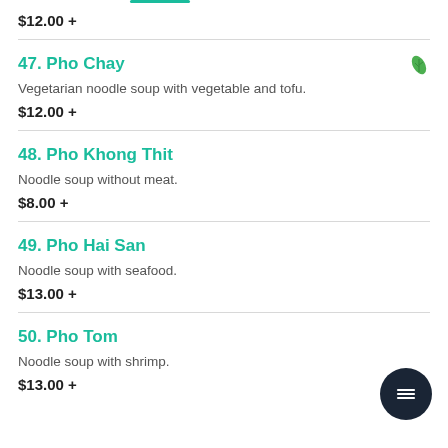$12.00 +
47. Pho Chay
Vegetarian noodle soup with vegetable and tofu.
$12.00 +
48. Pho Khong Thit
Noodle soup without meat.
$8.00 +
49. Pho Hai San
Noodle soup with seafood.
$13.00 +
50. Pho Tom
Noodle soup with shrimp.
$13.00 +